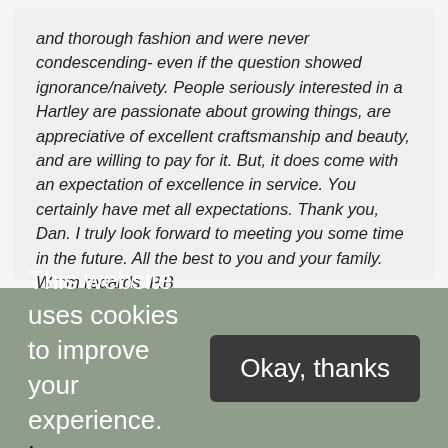and thorough fashion and were never condescending- even if the question showed ignorance/naivety. People seriously interested in a Hartley are passionate about growing things, are appreciative of excellent craftsmanship and beauty, and are willing to pay for it. But, it does come with an expectation of excellence in service. You certainly have met all expectations. Thank you, Dan. I truly look forward to meeting you some time in the future. All the best to you and your family. Warm regards, P.B
This website uses cookies to improve your experience. Learn more
Okay, thanks